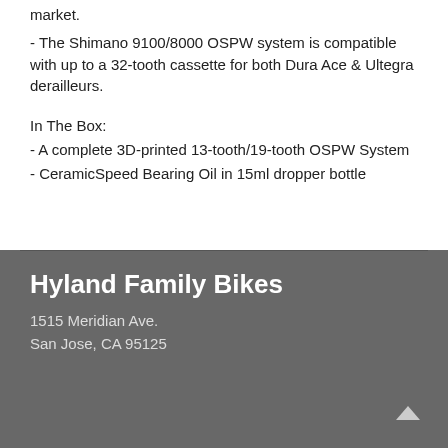market.
- The Shimano 9100/8000 OSPW system is compatible with up to a 32-tooth cassette for both Dura Ace & Ultegra derailleurs.
In The Box:
- A complete 3D-printed 13-tooth/19-tooth OSPW System
- CeramicSpeed Bearing Oil in 15ml dropper bottle
Hyland Family Bikes
1515 Meridian Ave.
San Jose, CA 95125